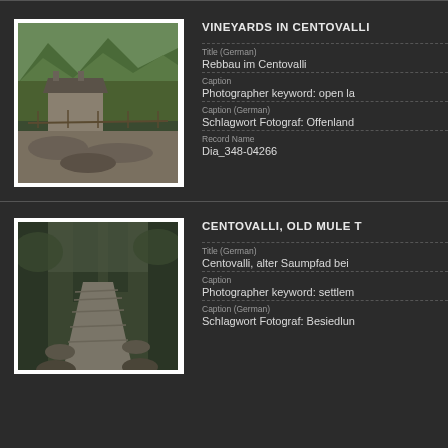[Figure (photo): Photograph of stone farmhouse building with mountain terraced vineyards in background (Centovalli region)]
VINEYARDS IN CENTOVALLI
Title (German): Rebbau im Centovalli
Caption: Photographer keyword: open la...
Caption (German): Schlagwort Fotograf: Offenland...
Record Name: Dia_348-04266
[Figure (photo): Photograph of old stone mule track path through forested area in Centovalli]
CENTOVALLI, OLD MULE T...
Title (German): Centovalli, alter Saumpfad bei...
Caption: Photographer keyword: settlem...
Caption (German): Schlagwort Fotograf: Besiedlun...